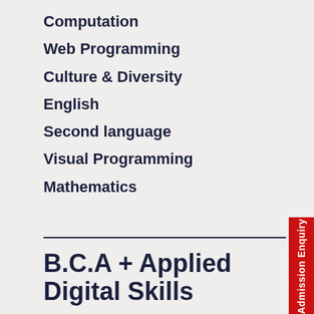Computation
Web Programming
Culture & Diversity
English
Second language
Visual Programming
Mathematics
B.C.A + Applied Digital Skills
Start learning design principles, software and